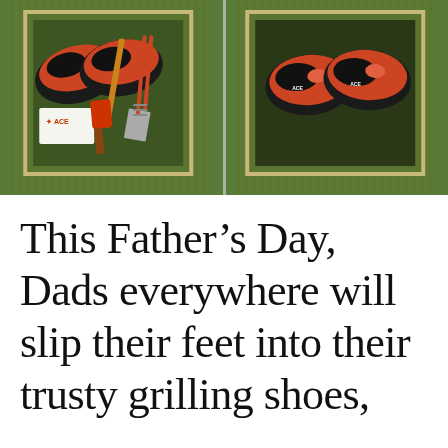[Figure (photo): Two-panel photo on green grass background. Left panel: a wooden-bordered box on grass containing red/black sports shoes, grilling tools (spatula, tongs), and an ACE hardware card. Right panel: a wooden-bordered box on grass containing a pair of red/black sports shoes (grilling shoes) viewed from above.]
This Father’s Day, Dads everywhere will slip their feet into their trusty grilling shoes,